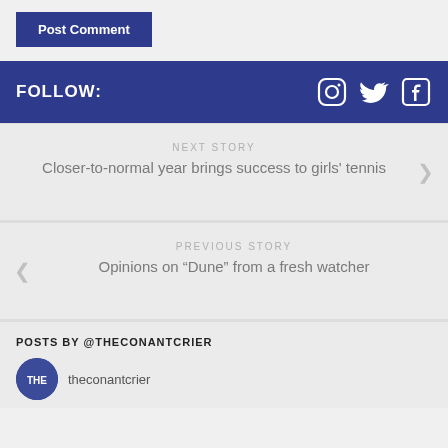Post Comment
FOLLOW:
[Figure (other): Social media icons: Instagram, Twitter, Facebook]
NEXT STORY
Closer-to-normal year brings success to girls' tennis
PREVIOUS STORY
Opinions on “Dune” from a fresh watcher
POSTS BY @THECONANTCRIER
theconantcrier